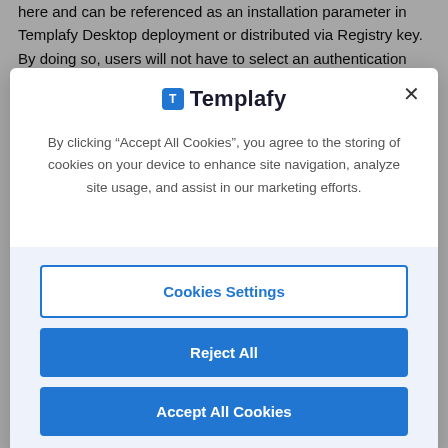here and can be referenced as an installation parameter in Templafy Desktop deployment or distributed via Registry key. By doing so, users will not have to select an authentication method each time Refresh Token is being renewed and the login shall
[Figure (screenshot): Templafy cookie consent modal dialog with logo, descriptive text, and three buttons: Cookies Settings, Reject All, Accept All Cookies]
By clicking “Accept All Cookies”, you agree to the storing of cookies on your device to enhance site navigation, analyze site usage, and assist in our marketing efforts.
Cookies Settings
Reject All
Accept All Cookies